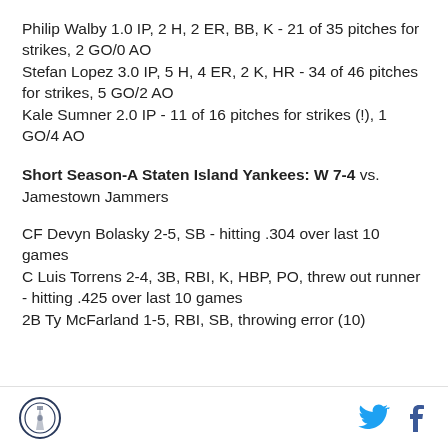Philip Walby 1.0 IP, 2 H, 2 ER, BB, K - 21 of 35 pitches for strikes, 2 GO/0 AO
Stefan Lopez 3.0 IP, 5 H, 4 ER, 2 K, HR - 34 of 46 pitches for strikes, 5 GO/2 AO
Kale Sumner 2.0 IP - 11 of 16 pitches for strikes (!), 1 GO/4 AO
Short Season-A Staten Island Yankees: W 7-4 vs. Jamestown Jammers
CF Devyn Bolasky 2-5, SB - hitting .304 over last 10 games
C Luis Torrens 2-4, 3B, RBI, K, HBP, PO, threw out runner - hitting .425 over last 10 games
2B Ty McFarland 1-5, RBI, SB, throwing error (10)
Logo | Twitter | Facebook